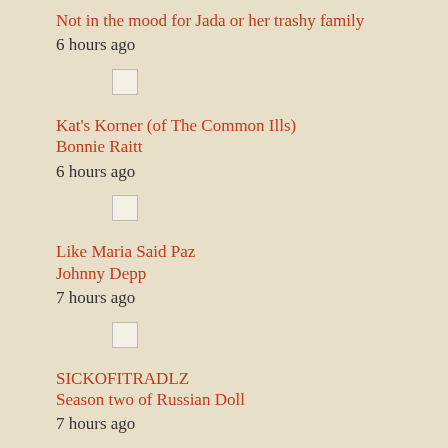Not in the mood for Jada or her trashy family
6 hours ago
Kat's Korner (of The Common Ills)
Bonnie Raitt
6 hours ago
Like Maria Said Paz
Johnny Depp
7 hours ago
SICKOFITRADLZ
Season two of Russian Doll
7 hours ago
Oh Boy It Never Ends